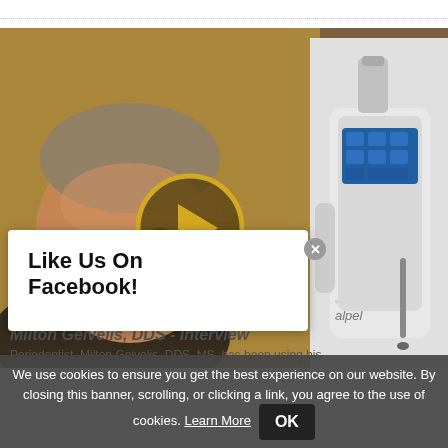[Figure (screenshot): Video thumbnail showing a smiling older man on the left and a dental laser device (labeled 'alpel') on the right, with a yellow/gold play button in the center overlay. A dotted border appears at the top.]
Like Us On Facebook!
We use cookies to ensure you get the best experience on our website. By closing this banner, scrolling, or clicking a link, you agree to the use of cookies. Learn More  OK
Milton Geivelis, DDS - Interview
Periodontist, Milton Geivelis, DDS, MS, has been using his